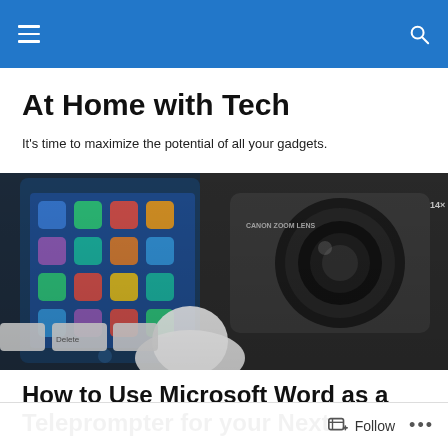At Home with Tech — site navigation header
At Home with Tech
It's time to maximize the potential of all your gadgets.
[Figure (photo): Photo showing technology gadgets: a smartphone displaying app icons, a Canon zoom lens camera, a white computer mouse, and keyboard keys.]
How to Use Microsoft Word as a Teleprompter for your Next
Follow  •••